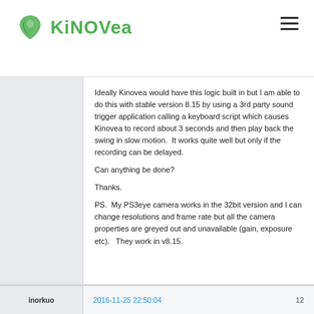Kinovea
Ideally Kinovea would have this logic built in but I am able to do this with stable version 8.15 by using a 3rd party sound trigger application calling a keyboard script which causes Kinovea to record about 3 seconds and then play back the swing in slow motion.  It works quite well but only if the recording can be delayed.

Can anything be done?

Thanks.

PS.  My PS3eye camera works in the 32bit version and I can change resolutions and frame rate but all the camera properties are greyed out and unavailable (gain, exposure etc).   They work in v8.15.
inorkuo  2016-11-25 22:50:04  12